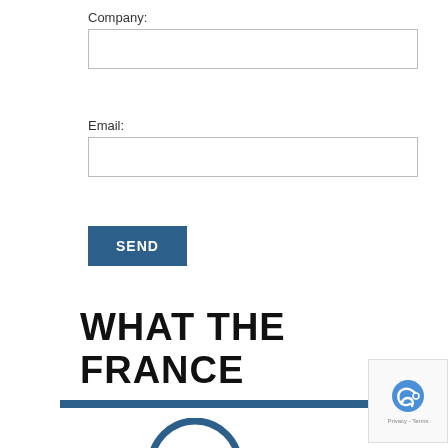Company:
Email:
SEND
WHAT THE FRANCE
[Figure (other): Blue horizontal rule divider line below the title]
[Figure (other): Partial circular logo/icon at bottom center, dark blue]